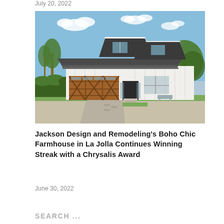July 20, 2022
[Figure (photo): Exterior photo of a white modern farmhouse with a wooden garage door, metal roof, palm trees in background, and green landscaping — the Boho Chic Farmhouse in La Jolla by Jackson Design and Remodeling.]
Jackson Design and Remodeling's Boho Chic Farmhouse in La Jolla Continues Winning Streak with a Chrysalis Award
June 30, 2022
SEARCH ...